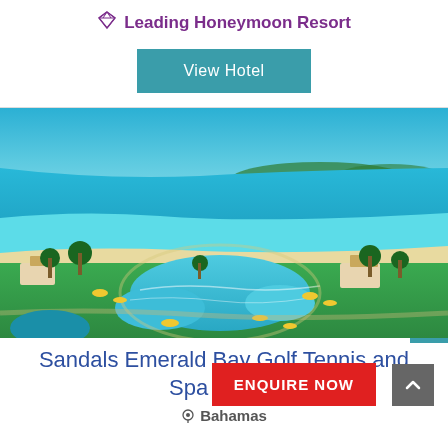Leading Honeymoon Resort
View Hotel
[Figure (photo): Aerial view of Sandals Emerald Bay resort showing a large freeform pool area surrounded by palm trees and yellow beach chairs, with a white sand beach and brilliant turquoise Caribbean sea in the background]
Sandals Emerald Bay Golf Tennis and Spa Resort
Bahamas
ENQUIRE NOW